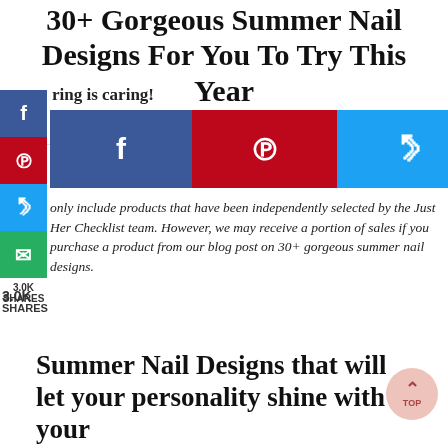30+ Gorgeous Summer Nail Designs For You To Try This Year
by Dinal Paradkar  💬 Leave a Comment
Sharing is caring!
[Figure (infographic): Social media share buttons: Facebook (dark blue), Pinterest (red), Twitter (blue), Email (green), with share count 3004 SHARES]
only include products that have been independently selected by the Just Her Checklist team. However, we may receive a portion of sales if you purchase a product from our blog post on 30+ gorgeous summer nail designs.
Summer Nail Designs that will let your personality shine with your nails